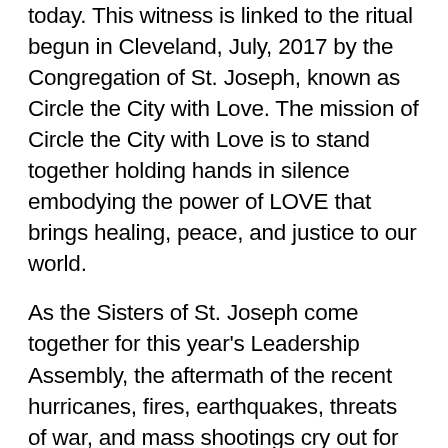today. This witness is linked to the ritual begun in Cleveland, July, 2017 by the Congregation of St. Joseph, known as Circle the City with Love. The mission of Circle the City with Love is to stand together holding hands in silence embodying the power of LOVE that brings healing, peace, and justice to our world.
As the Sisters of St. Joseph come together for this year's Leadership Assembly, the aftermath of the recent hurricanes, fires, earthquakes, threats of war, and mass shootings cry out for reconciling love. We stand at the threshold of a new era for our planet, and our time is calling us to respond as the unifying force that is inherent in all human beings; a time that will